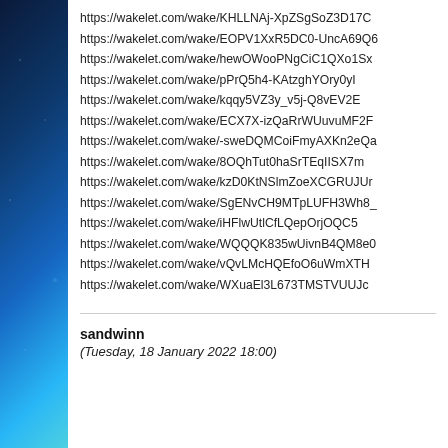https://wakelet.com/wake/KHLLNAj-XpZSgSoZ3D17C
https://wakelet.com/wake/EOPV1XxR5DC0-UncA69Q6
https://wakelet.com/wake/hewOWooPNgCiC1QXo1Sx
https://wakelet.com/wake/pPrQ5h4-KAtzghYOry0yI
https://wakelet.com/wake/kqqy5VZ3y_v5j-Q8vEV2E
https://wakelet.com/wake/ECX7X-izQaRrWUuvuMF2F
https://wakelet.com/wake/-sweDQMCoiFmyAXKn2eQa
https://wakelet.com/wake/8OQhTut0haSrTEqIISX7m
https://wakelet.com/wake/kzD0KtNSlmZoeXCGRUJUr
https://wakelet.com/wake/SgENvCH9MTpLUFH3Wh8_
https://wakelet.com/wake/iHFlwUtlCfLQepOrjOQC5
https://wakelet.com/wake/WQQQK835wUivnB4QM8e0
https://wakelet.com/wake/vQvLMcHQEfoO6uWmXTH
https://wakelet.com/wake/WXuaEl3L673TMSTVUUJc
sandwinn
(Tuesday, 18 January 2022 18:00)